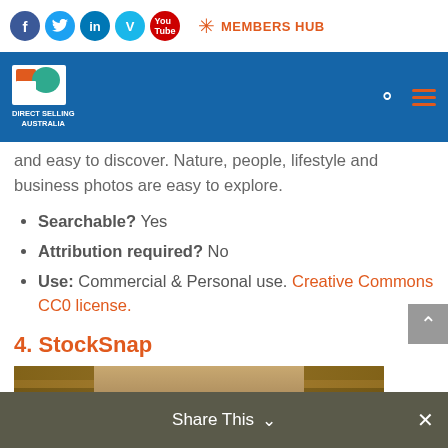Social icons: Facebook, Twitter, LinkedIn, Vimeo, YouTube | MEMBERS HUB
[Figure (logo): Direct Selling Australia logo on blue navigation bar with search and menu icons]
and easy to discover. Nature, people, lifestyle and business photos are easy to explore.
Searchable? Yes
Attribution required? No
Use: Commercial & Personal use. Creative Commons CC0 license.
4. StockSnap
[Figure (photo): Photo of person browsing books in a library aisle, shelves of books on both sides]
Share This